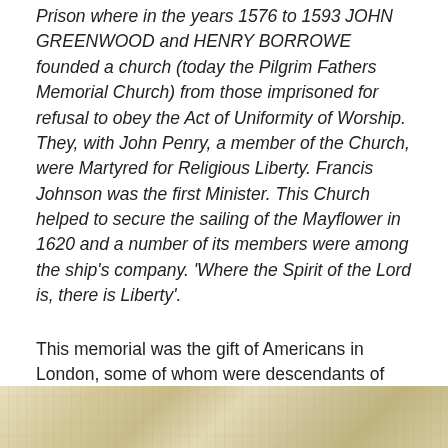Prison where in the years 1576 to 1593 JOHN GREENWOOD and HENRY BORROWE founded a church (today the Pilgrim Fathers Memorial Church) from those imprisoned for refusal to obey the Act of Uniformity of Worship. They, with John Penry, a member of the Church, were Martyred for Religious Liberty. Francis Johnson was the first Minister. This Church helped to secure the sailing of the Mayflower in 1620 and a number of its members were among the ship’s company. ‘Where the Spirit of the Lord is, there is Liberty’.
This memorial was the gift of Americans in London, some of whom were descendants of the Mayflower Pilgrims.
[Figure (photo): Bottom strip of a photograph showing a weathered, parchment-coloured or stone surface with mottled tan, beige and brown tones.]